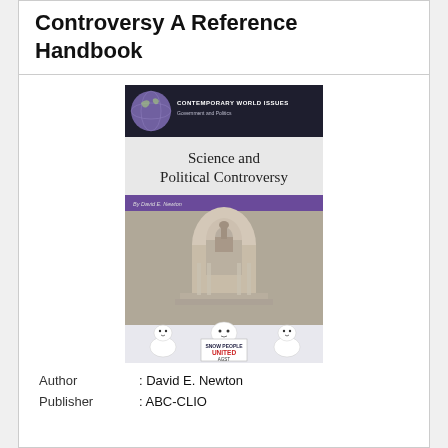Controversy A Reference Handbook
[Figure (photo): Book cover of 'Science and Political Controversy' by David E. Newton, part of the Contemporary World Issues series. The cover shows snowmen in front of the US Capitol building holding signs referencing global warming. The top has a dark banner with a globe graphic.]
Author : David E. Newton
Publisher : ABC-CLIO